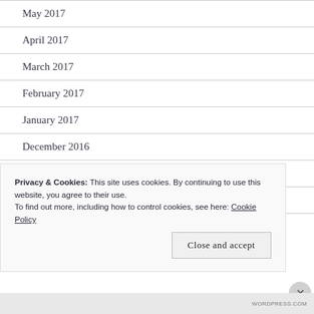May 2017
April 2017
March 2017
February 2017
January 2017
December 2016
November 2016
October 2016
Privacy & Cookies: This site uses cookies. By continuing to use this website, you agree to their use.
To find out more, including how to control cookies, see here: Cookie Policy
Close and accept